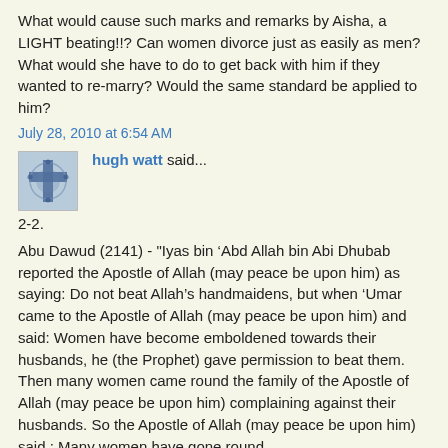What would cause such marks and remarks by Aisha, a LIGHT beating!!? Can women divorce just as easily as men? What would she have to do to get back with him if they wanted to re-marry? Would the same standard be applied to him?
July 28, 2010 at 6:54 AM
hugh watt said...
[Figure (photo): Small avatar image showing a cross or decorative symbol in blue tones]
2-2.
Abu Dawud (2141) - "Iyas bin ‘Abd Allah bin Abi Dhubab reported the Apostle of Allah (may peace be upon him) as saying: Do not beat Allah’s handmaidens, but when ‘Umar came to the Apostle of Allah (may peace be upon him) and said: Women have become emboldened towards their husbands, he (the Prophet) gave permission to beat them. Then many women came round the family of the Apostle of Allah (may peace be upon him) complaining against their husbands. So the Apostle of Allah (may peace be upon him) said : Many women have gone round Mohammed’s family complaining against their